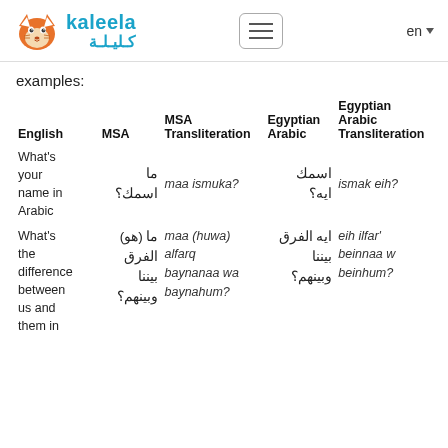kaleela / كليلة — en
examples:
| English | MSA | MSA Transliteration | Egyptian Arabic | Egyptian Arabic Transliteration |
| --- | --- | --- | --- | --- |
| What's your name in Arabic | ما اسمك؟ | maa ismuka? | اسمك ايه؟ | ismak eih? |
| What's the difference between us and them in | ما (هو) الفرق بيننا وبينهم؟ | maa (huwa) alfarq baynanaa wa baynahum? | ايه الفرق بيننا وبينهم؟ | eih ilfar' beinnaa w beinhum? |